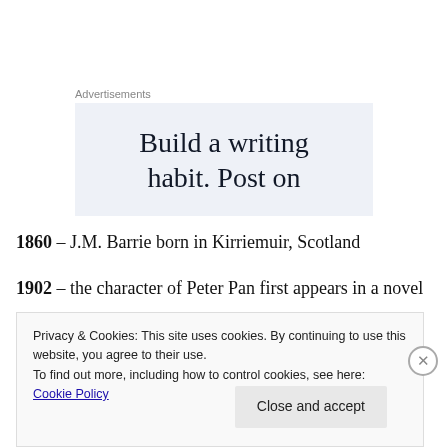Advertisements
[Figure (other): Advertisement banner with text: Build a writing habit. Post on]
1860 – J.M. Barrie born in Kirriemuir, Scotland
1902 – the character of Peter Pan first appears in a novel
Privacy & Cookies: This site uses cookies. By continuing to use this website, you agree to their use.
To find out more, including how to control cookies, see here: Cookie Policy